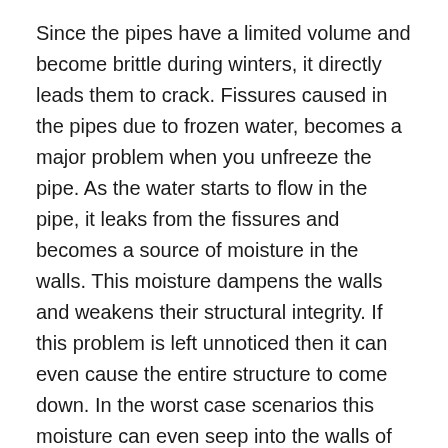Since the pipes have a limited volume and become brittle during winters, it directly leads them to crack. Fissures caused in the pipes due to frozen water, becomes a major problem when you unfreeze the pipe. As the water starts to flow in the pipe, it leaks from the fissures and becomes a source of moisture in the walls. This moisture dampens the walls and weakens their structural integrity. If this problem is left unnoticed then it can even cause the entire structure to come down. In the worst case scenarios this moisture can even seep into the walls of your neighbors if you live in an apartment building. The moisture not only causes the walls to lose their structural integrity but it can also become a health hazard as moisture is the primary cause for the growth of mold.
What can be done in order to avoid the problem of